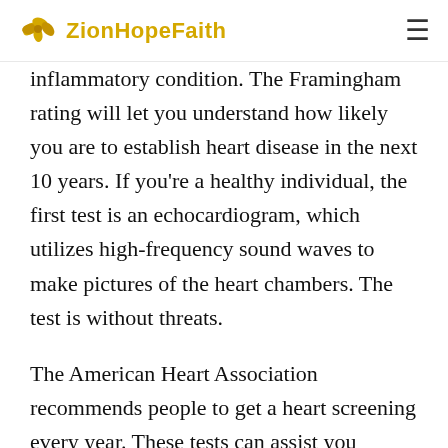ZionHopeFaith
inflammatory condition. The Framingham rating will let you understand how likely you are to establish heart disease in the next 10 years. If you're a healthy individual, the first test is an echocardiogram, which utilizes high-frequency sound waves to make pictures of the heart chambers. The test is without threats.
The American Heart Association recommends people to get a heart screening every year. These tests can assist you recognize a problem before it triggers